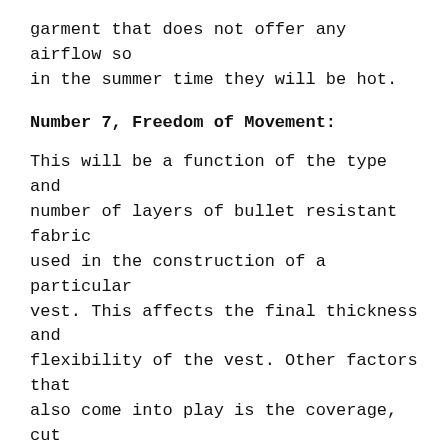garment that does not offer any airflow so in the summer time they will be hot.
Number 7, Freedom of Movement:
This will be a function of the type and number of layers of bullet resistant fabric used in the construction of a particular vest. This affects the final thickness and flexibility of the vest. Other factors that also come into play is the coverage, cut style or fit and material softness.
Number 8, Construction Materials:
Practically all vests offered today by the